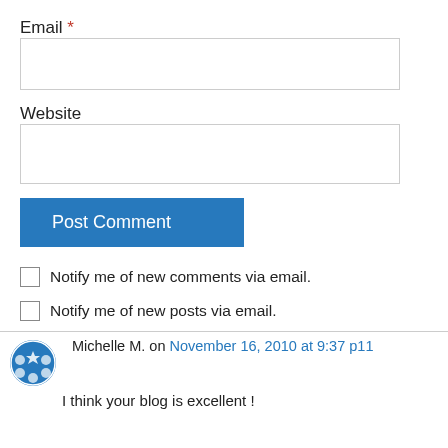Email *
Website
Post Comment
Notify me of new comments via email.
Notify me of new posts via email.
Michelle M. on November 16, 2010 at 9:37 p11
I think your blog is excellent !